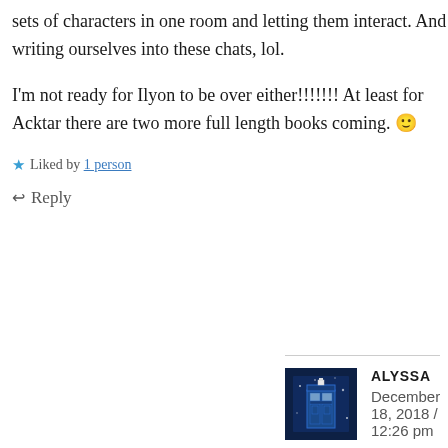sets of characters in one room and letting them interact. And writing ourselves into these chats, lol.
I'm not ready for Ilyon to be over either!!!!!!! At least for Acktar there are two more full length books coming. 🙂
★ Liked by 1 person
↩ Reply
ALYSSA
December 18, 2018 / 12:26 pm